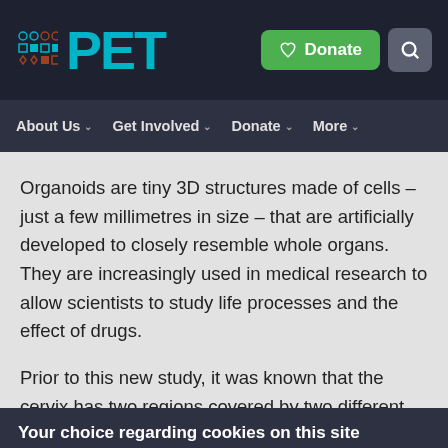[Figure (logo): PET logo with icon grid and teal text on dark navy background, with green Donate button and grey search button]
About Us  Get Involved  Donate  More
Organoids are tiny 3D structures made of cells – just a few millimetres in size – that are artificially developed to closely resemble whole organs. They are increasingly used in medical research to allow scientists to study life processes and the effect of drugs.
Prior to this new study, it was known that the cervix has two regions covered by two different types of epithelial
Your choice regarding cookies on this site
We use cookies to optimise site functionality and give you